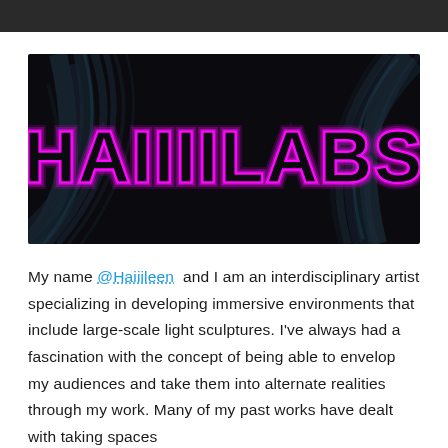[Figure (photo): Banner image with dark background showing abstract leaf/feather patterns. Neon magenta/pink outlined text reads 'HAIIIILABS' in large block letters with glowing neon effect.]
My name @Haiiileen and I am an interdisciplinary artist specializing in developing immersive environments that include large-scale light sculptures. I've always had a fascination with the concept of being able to envelop my audiences and take them into alternate realities through my work. Many of my past works have dealt with taking spaces